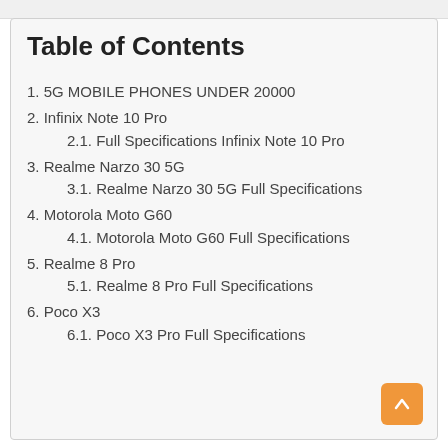Table of Contents
1. 5G MOBILE PHONES UNDER 20000
2. Infinix Note 10 Pro
2.1. Full Specifications Infinix Note 10 Pro
3. Realme Narzo 30 5G
3.1. Realme Narzo 30 5G Full Specifications
4. Motorola Moto G60
4.1. Motorola Moto G60 Full Specifications
5. Realme 8 Pro
5.1. Realme 8 Pro Full Specifications
6. Poco X3
6.1. Poco X3 Pro Full Specifications